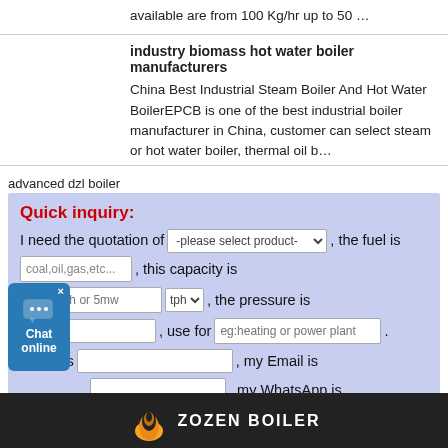available are from 100 Kg/hr up to 50 …
industry biomass hot water boiler manufacturers
China Best Industrial Steam Boiler And Hot Water BoilerEPCB is one of the best industrial boiler manufacturer in China, customer can select steam or hot water boiler, thermal oil b…
advanced dzl boiler
Quick inquiry: I need the quotation of -please select product- , the fuel is coal,oil,gas,etc... , this capacity is eg:5ton/h or 5mw tph , the pressure is , use for eg:heating or power plant . My name is , my Email is , my WhatsApp is , Please Send the detail information for me! submit
[Figure (logo): ZOZEN BOILER logo with flame icon at bottom of page]